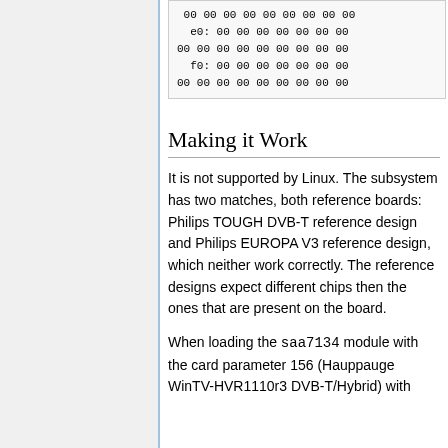[Figure (screenshot): Code/hex dump box showing lines of hex values: '00 00 00 00 00 00 00 00 00', 'e0: 00 00 00 00 00 00 00', '00 00 00 00 00 00 00 00 00', 'f0: 00 00 00 00 00 00 00', '00 00 00 00 00 00 00 00 00']
Making it Work
It is not supported by Linux. The subsystem has two matches, both reference boards: Philips TOUGH DVB-T reference design and Philips EUROPA V3 reference design, which neither work correctly. The reference designs expect different chips then the ones that are present on the board.
When loading the saa7134 module with the card parameter 156 (Hauppauge WinTV-HVR1110r3 DVB-T/Hybrid) with